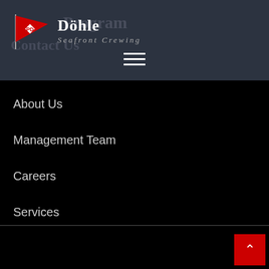[Figure (logo): Döhle Seafront Crewing logo with red flag bearing PD diamond emblem, company name and tagline]
Döhle
Seafront Crewing
About Us
Management Team
Careers
Services
Privacy Policy
© 2022 Peter Döhle Schiffahrts-KG.  All Rights Reserved.